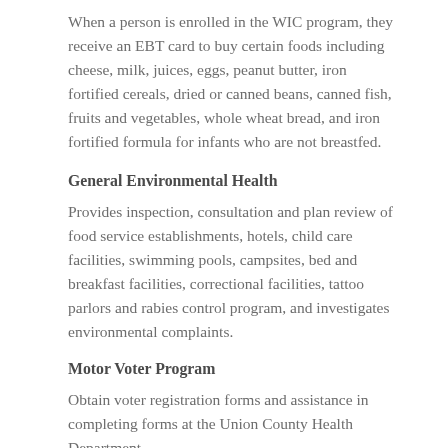When a person is enrolled in the WIC program, they receive an EBT card to buy certain foods including cheese, milk, juices, eggs, peanut butter, iron fortified cereals, dried or canned beans, canned fish, fruits and vegetables, whole wheat bread, and iron fortified formula for infants who are not breastfed.
General Environmental Health
Provides inspection, consultation and plan review of food service establishments, hotels, child care facilities, swimming pools, campsites, bed and breakfast facilities, correctional facilities, tattoo parlors and rabies control program, and investigates environmental complaints.
Motor Voter Program
Obtain voter registration forms and assistance in completing forms at the Union County Health Department.